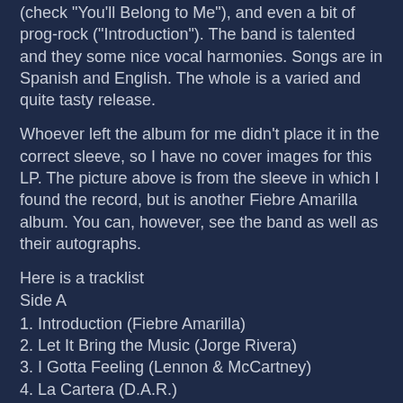(check "You'll Belong to Me"), and even a bit of prog-rock ("Introduction"). The band is talented and they some nice vocal harmonies. Songs are in Spanish and English. The whole is a varied and quite tasty release.
Whoever left the album for me didn't place it in the correct sleeve, so I have no cover images for this LP. The picture above is from the sleeve in which I found the record, but is another Fiebre Amarilla album. You can, however, see the band as well as their autographs.
Here is a tracklist
Side A
1. Introduction (Fiebre Amarilla)
2. Let It Bring the Music (Jorge Rivera)
3. I Gotta Feeling (Lennon & McCartney)
4. La Cartera (D.A.R.)
5. Hecho Y Derecho (Joe Cuba)
Side B
6. Por Que No Llegaste Ayer? (German Mangandi)
7. Mananas de Abril (Ele Juarez)
8. Sembre un Poema (German Mangandi & Tony Delgado)